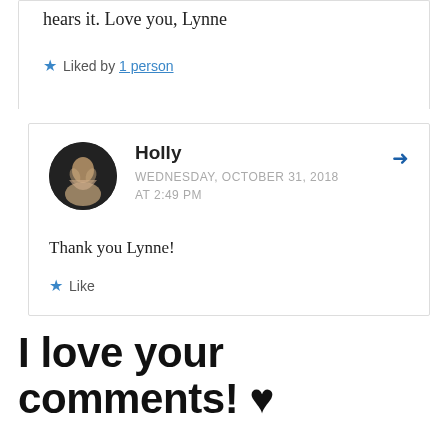hears it. Love you, Lynne
★ Liked by 1 person
Holly
WEDNESDAY, OCTOBER 31, 2018 AT 2:49 PM
Thank you Lynne!
★ Like
I love your comments! ♥